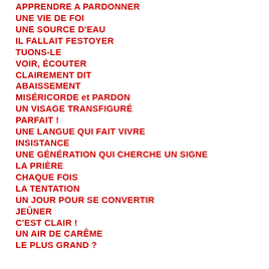APPRENDRE A PARDONNER
UNE VIE DE FOI
UNE SOURCE D'EAU
IL FALLAIT FESTOYER
TUONS-LE
VOIR, ÉCOUTER
CLAIREMENT DIT
ABAISSEMENT
MISÉRICORDE et PARDON
UN VISAGE TRANSFIGURÉ
PARFAIT !
UNE LANGUE QUI FAIT VIVRE
INSISTANCE
UNE GÉNÉRATION QUI CHERCHE UN SIGNE
LA PRIÈRE
CHAQUE FOIS
LA TENTATION
UN JOUR POUR SE CONVERTIR
JEÛNER
C'EST CLAIR !
UN AIR DE CARÊME
LE PLUS GRAND ?